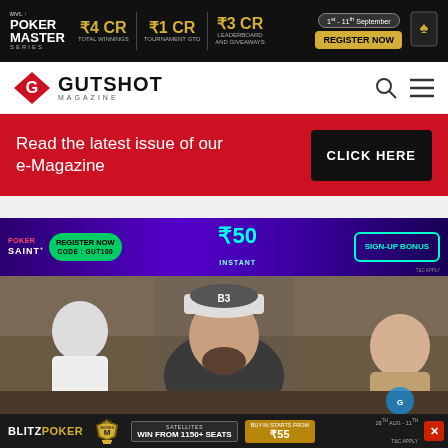[Figure (infographic): Poker Master Series ad banner: ₹4CR Total Winnings, ₹1CR Tournament GTD, ₹3CR Leaderboard and Giveaways. 1st-11th September. Register Now button.]
[Figure (logo): Gutshot Magazine logo with red diamond G icon, search icon and hamburger menu]
[Figure (infographic): Red promo bar: Read the latest issue of our e-Magazine. CLICK HERE button.]
[Figure (infographic): PokerSaint ad: Register Now, Code: GUT100, ₹50 Instant Sign-Up Bonus]
[Figure (photo): Poker player wearing a white cap with B3 logo and patterned shirt, seated at a poker table]
[Figure (infographic): BlitzPoker Millionaire Series ad: Satellites Win From 1150+ Seats, Buy-In Starts From ₹55. 28th Aug - 11th.]